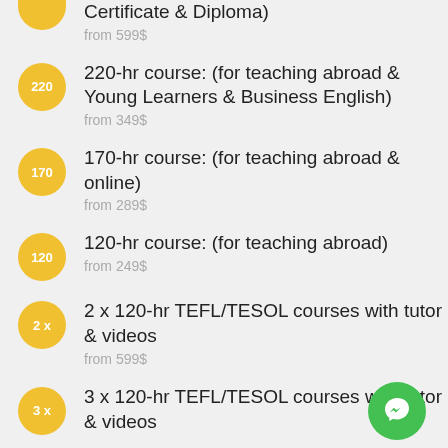Certificate & Diploma)
from 599$
220-hr course: (for teaching abroad & Young Learners & Business English)
from 349$
170-hr course: (for teaching abroad & online)
from 289$
120-hr course: (for teaching abroad)
from 249$
2 x 120-hr TEFL/TESOL courses with tutor & videos
from 599$
3 x 120-hr TEFL/TESOL courses with tutor & videos